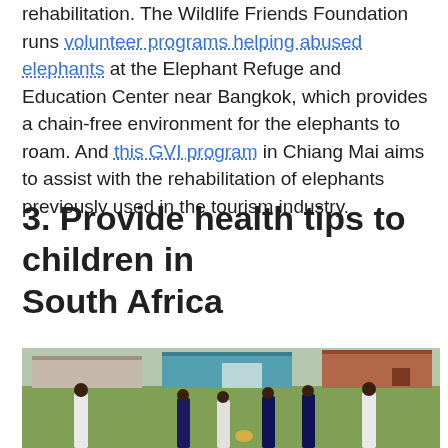rehabilitation. The Wildlife Friends Foundation runs volunteer programs helping abused elephants at the Elephant Refuge and Education Center near Bangkok, which provides a chain-free environment for the elephants to roam. And this GVI program in Chiang Mai aims to assist with the rehabilitation of elephants previously used in the tourism industry.
3. Provide health tips to children in South Africa
[Figure (photo): Children playing on a grassy field with houses/buildings in the background, some in white shirts and some in dark shirts]